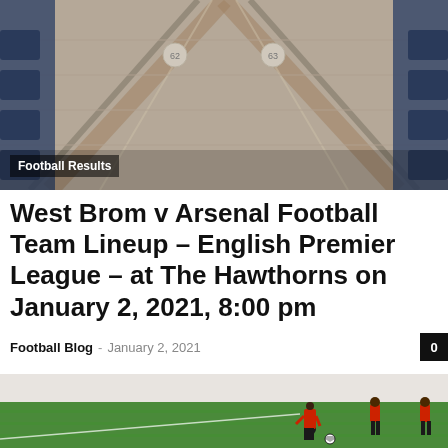[Figure (photo): Stadium seats viewed from above, empty blue seats with concrete steps, top-down perspective]
Football Results
West Brom v Arsenal Football Team Lineup – English Premier League – at The Hawthorns on January 2, 2021, 8:00 pm
Football Blog – January 2, 2021
[Figure (photo): Female football players in orange and black uniforms playing on a green grass pitch, one player dribbling a soccer ball]